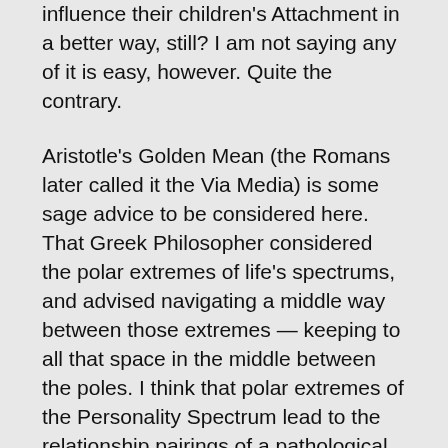influence their children's Attachment in a better way, still? I am not saying any of it is easy, however. Quite the contrary.
Aristotle's Golden Mean (the Romans later called it the Via Media) is some sage advice to be considered here. That Greek Philosopher considered the polar extremes of life's spectrums, and advised navigating a middle way between those extremes — keeping to all that space in the middle between the poles. I think that polar extremes of the Personality Spectrum lead to the relationship pairings of a pathological Narcissist (one extreme) with an Empath (the other extreme). These opposites attract. Eventually, the more dominant